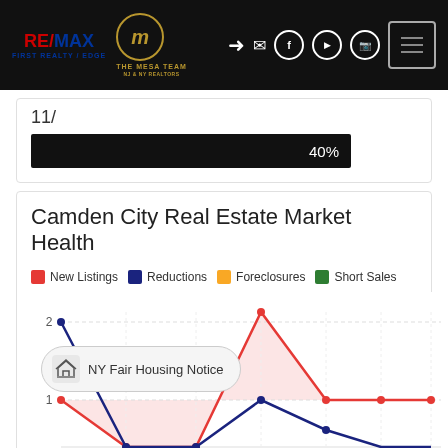RE/MAX First Realty / Edge — The Mesa Team
11/
40%
Camden City Real Estate Market Health
[Figure (line-chart): Line chart showing New Listings (red), Reductions (blue), Foreclosures (orange), Short Sales (green) over time. Y-axis shows values 1 and 2 visible. Red line peaks at 2, blue line starts at 2 and drops. NY Fair Housing Notice badge overlaid.]
NY Fair Housing Notice